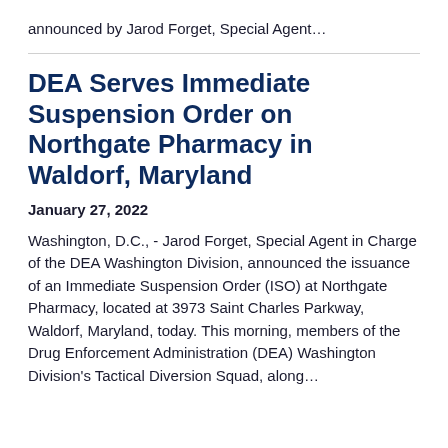announced by Jarod Forget, Special Agent…
DEA Serves Immediate Suspension Order on Northgate Pharmacy in Waldorf, Maryland
January 27, 2022
Washington, D.C., - Jarod Forget, Special Agent in Charge of the DEA Washington Division, announced the issuance of an Immediate Suspension Order (ISO) at Northgate Pharmacy, located at 3973 Saint Charles Parkway, Waldorf, Maryland, today. This morning, members of the Drug Enforcement Administration (DEA) Washington Division's Tactical Diversion Squad, along…